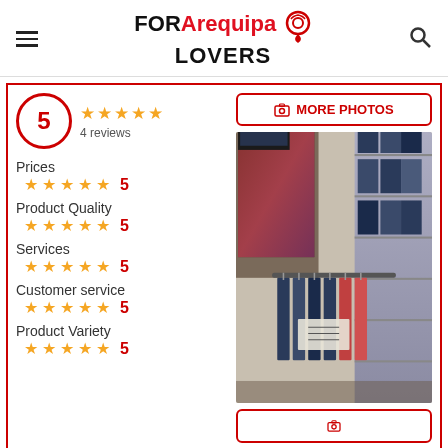FOR Arequipa LOVERS [logo with pin icon] [hamburger menu] [search icon]
5
4 reviews
★★★★★
Prices ★★★★★ 5
Product Quality ★★★★★ 5
Services ★★★★★ 5
Customer service ★★★★★ 5
Product Variety ★★★★★ 5
[Figure (photo): Interior of a clothing store showing racks of jeans and shirts, wall shelves with folded clothes, a TV screen, and promotional banners.]
MORE PHOTOS